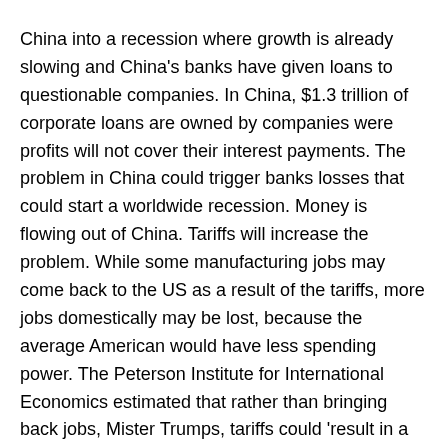China into a recession where growth is already slowing and China's banks have given loans to questionable companies. In China, $1.3 trillion of corporate loans are owned by companies were profits will not cover their interest payments. The problem in China could trigger banks losses that could start a worldwide recession. Money is flowing out of China. Tariffs will increase the problem. While some manufacturing jobs may come back to the US as a result of the tariffs, more jobs domestically may be lost, because the average American would have less spending power. The Peterson Institute for International Economics estimated that rather than bringing back jobs, Mister Trumps, tariffs could 'result in a trade war and cost our economy more than 5 million jobs and possibly lead to a recession'.
Tax Cuts: The centerpiece of Mister Trump's plan to revitalize the economy is a huge $5.8 trillion tax cut. As of yet, the tax cut is unaccompanied by specifically cutting other expenses that would pay for it. Actually, President-elect has proposed more spending on defense and infrastructure. Once again the only